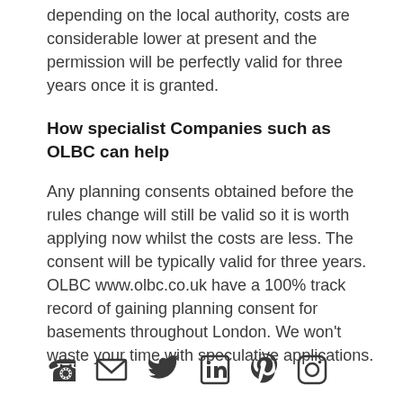depending on the local authority, costs are considerable lower at present and the permission will be perfectly valid for three years once it is granted.
How specialist Companies such as OLBC can help
Any planning consents obtained before the rules change will still be valid so it is worth applying now whilst the costs are less. The consent will be typically valid for three years. OLBC www.olbc.co.uk have a 100% track record of gaining planning consent for basements throughout London. We won't waste your time with speculative applications.
[Figure (infographic): Row of social media / contact icons: phone, email, Twitter, LinkedIn, Pinterest, Instagram]